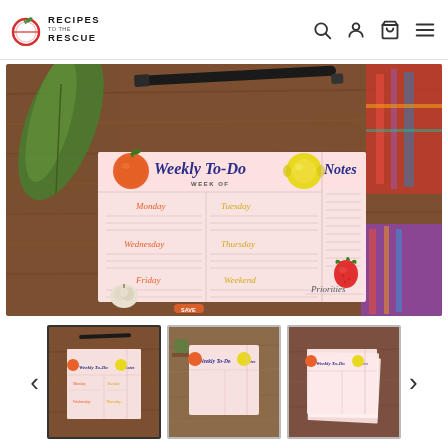RECIPES TO THE RESCUE
[Figure (photo): A weekly to-do planner pad with fruit illustrations (orange, lemon, strawberry, garlic) showing days of the week and a Notes section, placed on a wooden cutting board with a black marker pen, surrounded by tropical leaves and a colorful fabric]
[Figure (photo): Thumbnail 1: Same weekly planner on wooden board, selected]
[Figure (photo): Thumbnail 2: Weekly planner pad alone on surface]
[Figure (photo): Thumbnail 3: Weekly planner partially lifted showing multiple sheets]